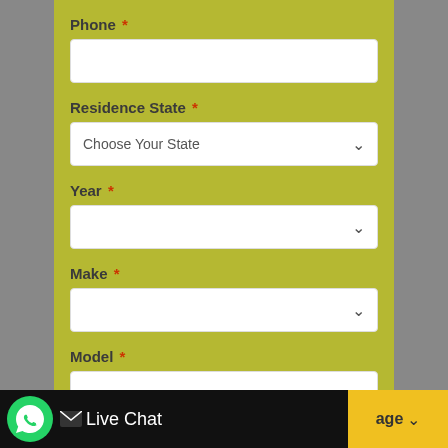Phone *
[Figure (screenshot): Empty text input field for Phone]
Residence State *
[Figure (screenshot): Dropdown field with placeholder 'Choose Your State']
Year *
[Figure (screenshot): Empty dropdown field for Year]
Make *
[Figure (screenshot): Empty dropdown field for Make]
Model *
[Figure (screenshot): Empty dropdown field for Model]
Trim *
[Figure (screenshot): Live Chat bar at bottom with WhatsApp icon and yellow message button]